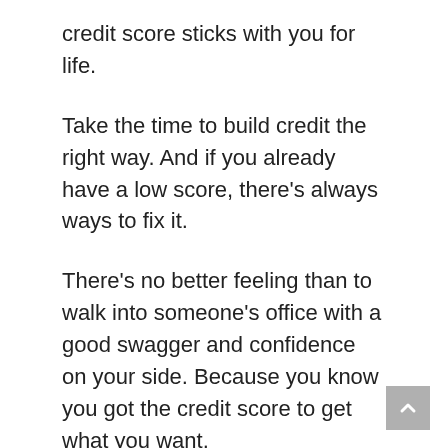credit score sticks with you for life.
Take the time to build credit the right way. And if you already have a low score, there’s always ways to fix it.
There’s no better feeling than to walk into someone’s office with a good swagger and confidence on your side. Because you know you got the credit score to get what you want.
When I recently bought a new car, it was almost like I was interviewing them. When they told me they needed to run my credit report, I smiled an said “Go ahead! Then come back and tell me how